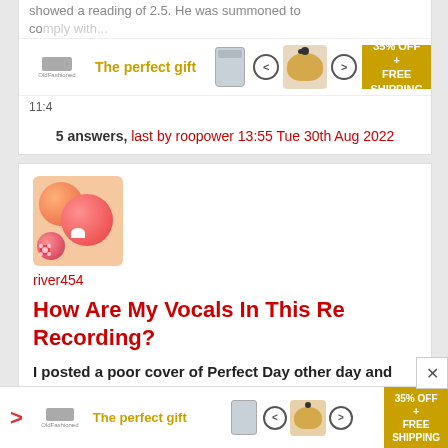showed a reading of 2.5. He was summoned to comply with...
[Figure (screenshot): Advertisement banner: The perfect gift, 35% OFF + FREE SHIPPING, OldFashioned brand, showing food bowls with navigation arrows]
11:4...
5 answers, last by roopower 13:55 Tue 30th Aug 2022
[Figure (illustration): User avatar showing orange and red cartoon character circles on light orange background]
river454
How Are My Vocals In This Re Recording?
I posted a poor cover of Perfect Day other day and got ridiculed (didn't offend as I asked lol) I was thinking of bailing but the thing is 99% of my other vocal covers have received ok/good
[Figure (screenshot): Advertisement banner at bottom: The perfect gift, 35% OFF + FREE SHIPPING, OldFashioned brand, showing food bowls with navigation arrows]